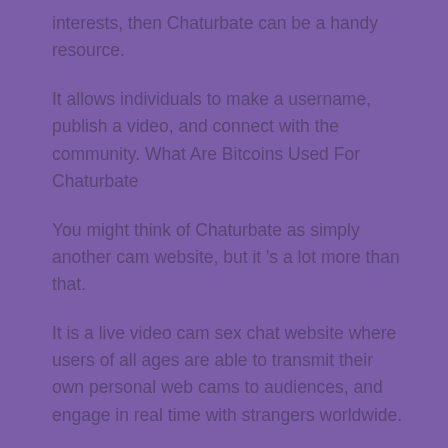interests, then Chaturbate can be a handy resource.
It allows individuals to make a username, publish a video, and connect with the community. What Are Bitcoins Used For Chaturbate
You might think of Chaturbate as simply another cam website, but it 's a lot more than that.
It is a live video cam sex chat website where users of all ages are able to transmit their own personal web cams to audiences, and engage in real time with strangers worldwide.
The category of Chaturbate viewers is quite diverse.
Those individuals who view to rapidly be stimulated to orgasm and discover the pre-recorded porn to be too boring.
At Chaturbate, individuals are present from every corner of the will